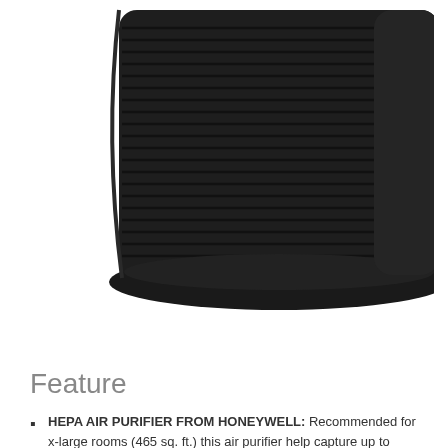[Figure (photo): Black Honeywell tower air purifier with horizontal slat vents, viewed from a slight angle, on white background]
CHECK PRICE
Feature
HEPA AIR PURIFIER FROM HONEYWELL: Recommended for x-large rooms (465 sq. ft.) this air purifier help capture up to 99.97%